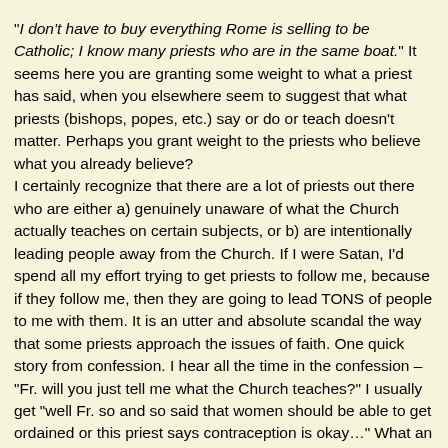"I don't have to buy everything Rome is selling to be Catholic; I know many priests who are in the same boat." It seems here you are granting some weight to what a priest has said, when you elsewhere seem to suggest that what priests (bishops, popes, etc.) say or do or teach doesn't matter. Perhaps you grant weight to the priests who believe what you already believe?
I certainly recognize that there are a lot of priests out there who are either a) genuinely unaware of what the Church actually teaches on certain subjects, or b) are intentionally leading people away from the Church. If I were Satan, I'd spend all my effort trying to get priests to follow me, because if they follow me, then they are going to lead TONS of people to me with them. It is an utter and absolute scandal the way that some priests approach the issues of faith. One quick story from confession. I hear all the time in the confession – "Fr. will you just tell me what the Church teaches?" I usually get "well Fr. so and so said that women should be able to get ordained or this priest says contraception is okay…" What an intellectually dishonest